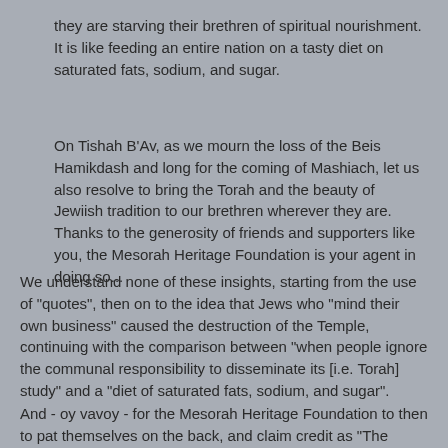they are starving their brethren of spiritual nourishment. It is like feeding an entire nation on a tasty diet on saturated fats, sodium, and sugar.
On Tishah B'Av, as we mourn the loss of the Beis Hamikdash and long for the coming of Mashiach, let us also resolve to bring the Torah and the beauty of Jewiish tradition to our brethren wherever they are. Thanks to the generosity of friends and supporters like you, the Mesorah Heritage Foundation is your agent in doing so...
We understand none of these insights, starting from the use of "quotes", then on to the idea that Jews who "mind their own business" caused the destruction of the Temple, continuing with the comparison between "when people ignore the communal responsibility to disseminate its [i.e. Torah] study" and a "diet of saturated fats, sodium, and sugar".
And - oy vavoy - for the Mesorah Heritage Foundation to then to pat themselves on the back, and claim credit as "The Antidote to the Destruction" and as a finale to announce and